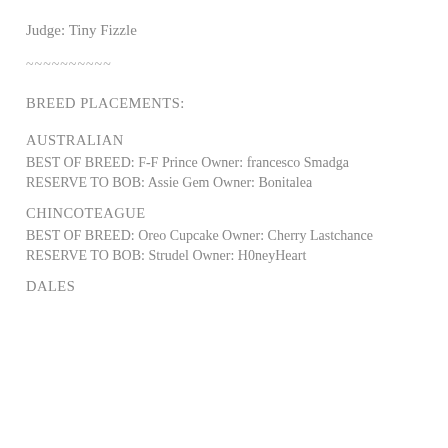Judge: Tiny Fizzle
~~~~~~~~~~
BREED PLACEMENTS:
AUSTRALIAN
BEST OF BREED: F-F Prince Owner: francesco Smadga
RESERVE TO BOB: Assie Gem Owner: Bonitalea
CHINCOTEAGUE
BEST OF BREED: Oreo Cupcake Owner: Cherry Lastchance
RESERVE TO BOB: Strudel Owner: H0neyHeart
DALES